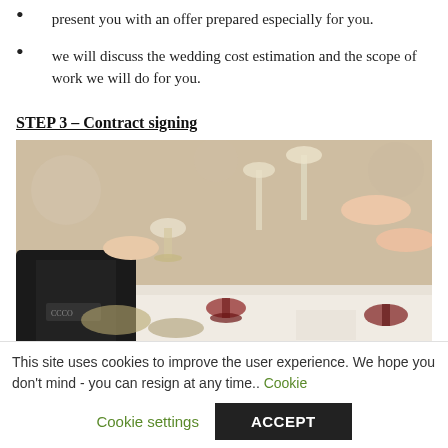present you with an offer prepared especially for you.
we will discuss the wedding cost estimation and the scope of work we will do for you.
STEP 3 – Contract signing
[Figure (photo): People toasting with champagne and wine glasses over a dining table set for a wedding celebration.]
This site uses cookies to improve the user experience. We hope you don't mind - you can resign at any time.. Cookie settings ACCEPT